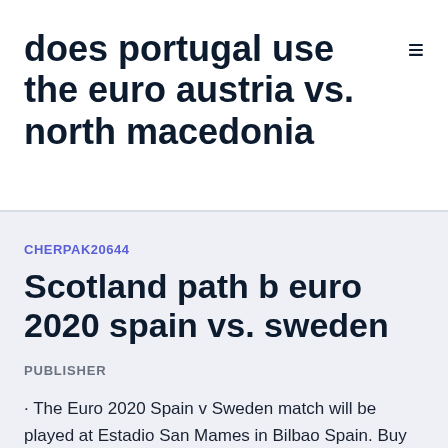does portugal use the euro austria vs. north macedonia
CHERPAK20644
Scotland path b euro 2020 spain vs. sweden
PUBLISHER
· The Euro 2020 Spain v Sweden match will be played at Estadio San Mames in Bilbao Spain. Buy Euro 2020